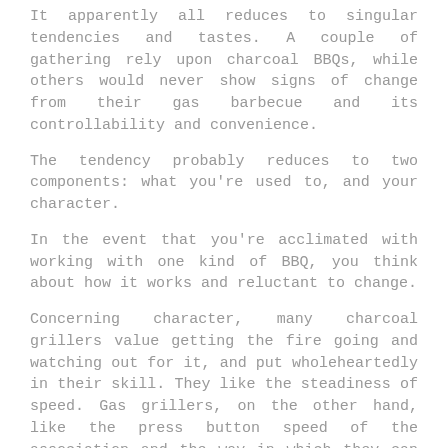It apparently all reduces to singular tendencies and tastes. A couple of gathering rely upon charcoal BBQs, while others would never show signs of change from their gas barbecue and its controllability and convenience.
The tendency probably reduces to two components: what you're used to, and your character.
In the event that you're acclimated with working with one kind of BBQ, you think about how it works and reluctant to change.
Concerning character, many charcoal grillers value getting the fire going and watching out for it, and put wholeheartedly in their skill. They like the steadiness of speed. Gas grillers, on the other hand, like the press button speed of the association and the way in which they can deal with the glow conclusively.
Posted in Shopping